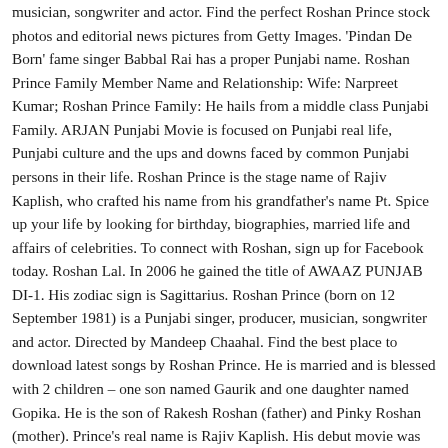musician, songwriter and actor. Find the perfect Roshan Prince stock photos and editorial news pictures from Getty Images. 'Pindan De Born' fame singer Babbal Rai has a proper Punjabi name. Roshan Prince Family Member Name and Relationship: Wife: Narpreet Kumar; Roshan Prince Family: He hails from a middle class Punjabi Family. ARJAN Punjabi Movie is focused on Punjabi real life, Punjabi culture and the ups and downs faced by common Punjabi persons in their life. Roshan Prince is the stage name of Rajiv Kaplish, who crafted his name from his grandfather's name Pt. Spice up your life by looking for birthday, biographies, married life and affairs of celebrities. To connect with Roshan, sign up for Facebook today. Roshan Lal. In 2006 he gained the title of AWAAZ PUNJAB DI-1. His zodiac sign is Sagittarius. Roshan Prince (born on 12 September 1981) is a Punjabi singer, producer, musician, songwriter and actor. Directed by Mandeep Chaahal. Find the best place to download latest songs by Roshan Prince. He is married and is blessed with 2 children – one son named Gaurik and one daughter named Gopika. He is the son of Rakesh Roshan (father) and Pinky Roshan (mother). Prince's real name is Rajiv Kaplish. His debut movie was 'Lagda Ishq Ho Gaya'. Prince's real name is Rajiv Kaplish.. Roshan affairs, Today Updates, Family Details, Biodata, Newlook, wiki learned the music of his master Shamshed Ali. Roshan Prince is a very popular actor and